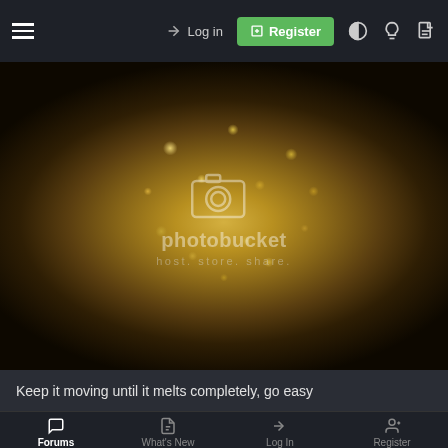≡  Log in  Register
[Figure (photo): A bowl of small yellowish-white pellets or seeds on a dark pan, with a Photobucket watermark overlay reading 'photobucket host. store. share.']
Keep it moving until it melts completely, go easy
Forums  What's New  Log In  Register